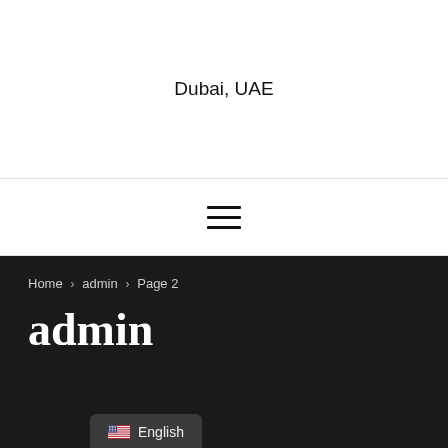Dubai, UAE
[Figure (other): Hamburger menu icon with three horizontal lines]
Home > admin > Page 2
admin
English